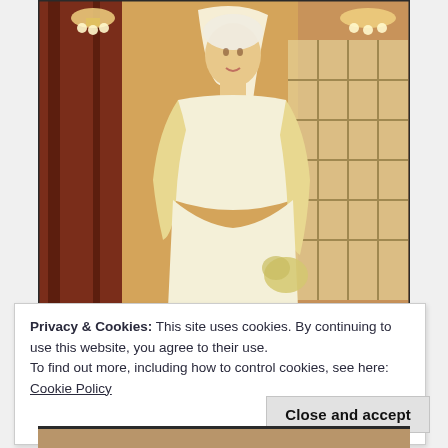[Figure (photo): A woman in a white strapless wedding gown with long satin gloves, an elaborate necklace, and a white veil/headpiece. She stands in an ornate interior with dark wood paneling and warm golden lighting, holding a small bouquet.]
Privacy & Cookies: This site uses cookies. By continuing to use this website, you agree to their use.
To find out more, including how to control cookies, see here: Cookie Policy
Close and accept
[Figure (photo): Bottom strip showing the top portion of another photo below the cookie banner.]